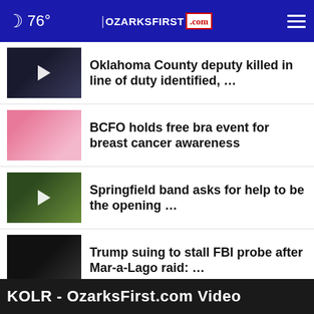76° OZARKSFIRST.com
Oklahoma County deputy killed in line of duty identified, …
BCFO holds free bra event for breast cancer awareness
Springfield band asks for help to be the opening …
Trump suing to stall FBI probe after Mar-a-Lago raid: …
More Stories ›
KOLR - OzarksFirst.com Video